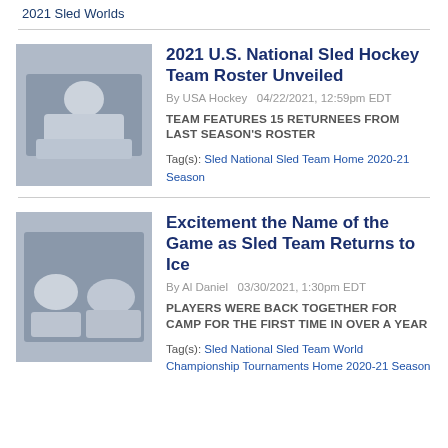2021 Sled Worlds
[Figure (photo): USA Sled Hockey team group photo]
2021 U.S. National Sled Hockey Team Roster Unveiled
By USA Hockey  04/22/2021, 12:59pm EDT
TEAM FEATURES 15 RETURNEES FROM LAST SEASON'S ROSTER
Tag(s): Sled  National Sled Team  Home  2020-21 Season
[Figure (photo): Sled hockey players on ice during camp]
Excitement the Name of the Game as Sled Team Returns to Ice
By Al Daniel  03/30/2021, 1:30pm EDT
PLAYERS WERE BACK TOGETHER FOR CAMP FOR THE FIRST TIME IN OVER A YEAR
Tag(s): Sled  National Sled Team  World Championship  Tournaments  Home  2020-21 Season